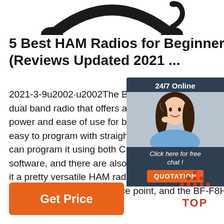[Figure (photo): Partial view of a black headset/headphones arc at the top of the page]
5 Best HAM Radios for Beginners (Reviews Updated 2021 ...
2021-3-9u2002·u2002The BaoFeng BF- dual band radio that offers a perfect com power and ease of use for beginners. It's easy to program with straightforward fun can program it using both CHIRP and th software, and there are also other option it a pretty versatile HAM radio for beginn of power is great at this price point, and the BF-F8HP ...
...
[Figure (infographic): Chat widget with '24/7 Online' header, photo of woman with headset, 'Click here for free chat!' text, and orange QUOTATION button]
[Figure (other): TOP navigation button with red dots/triangle icon and 'TOP' text in red]
Get Price